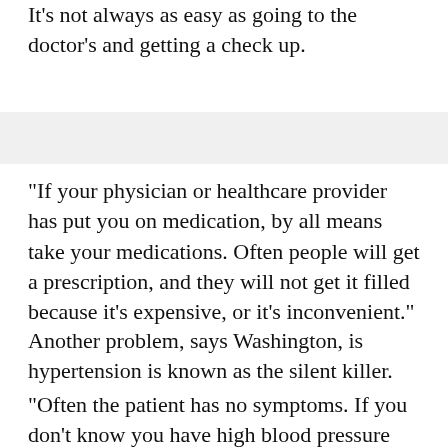It's not always as easy as going to the doctor's and getting a check up.
"If your physician or healthcare provider has put you on medication, by all means take your medications. Often people will get a prescription, and they will not get it filled because it's expensive, or it's inconvenient."
Another problem, says Washington, is hypertension is known as the silent killer.
"Often the patient has no symptoms. If you don't know you have high blood pressure you obviously won't be trying to treat it. So the first thing is to go to